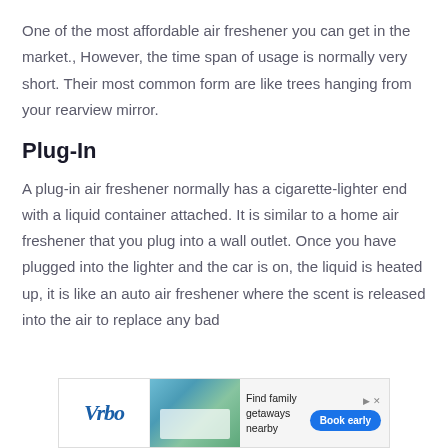One of the most affordable air freshener you can get in the market., However, the time span of usage is normally very short. Their most common form are like trees hanging from your rearview mirror.
Plug-In
A plug-in air freshener normally has a cigarette-lighter end with a liquid container attached. It is similar to a home air freshener that you plug into a wall outlet. Once you have plugged into the lighter and the car is on, the liquid is heated up, it is like an auto air freshener where the scent is released into the air to replace any bad
[Figure (other): Vrbo advertisement banner with logo, house image, text 'Find family getaways nearby', and 'Book early' button]